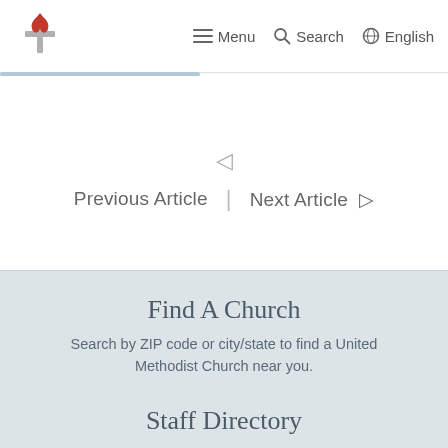Menu | Search | English
◁
Previous Article  |  Next Article  ▷
Find A Church
Search by ZIP code or city/state to find a United Methodist Church near you.
Staff Directory
Looking for a staff member? Click here to search by department.